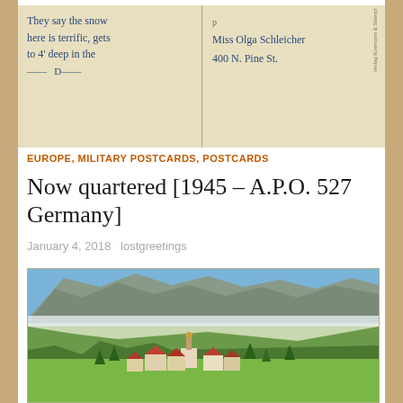[Figure (photo): Scanned vintage postcard showing handwritten text on both halves. Left side reads: 'They say the snow here is terrific, gets to 4' deep in the —'. Right side (address): 'Miss Olga Schleicher, 400 N. Pine St.']
EUROPE, MILITARY POSTCARDS, POSTCARDS
Now quartered [1945 – A.P.O. 527 Germany]
January 4, 2018  lostgreetings
[Figure (photo): Colorized vintage postcard photograph of a Bavarian alpine village with a church steeple in the foreground, green meadows, forested hills, and dramatic snow-capped mountains in the background under a blue sky with clouds.]